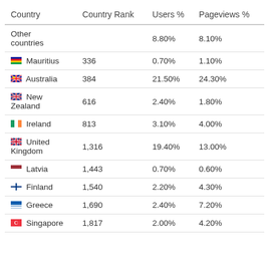| Country | Country Rank | Users % | Pageviews % |
| --- | --- | --- | --- |
| Other countries |  | 8.80% | 8.10% |
| Mauritius | 336 | 0.70% | 1.10% |
| Australia | 384 | 21.50% | 24.30% |
| New Zealand | 616 | 2.40% | 1.80% |
| Ireland | 813 | 3.10% | 4.00% |
| United Kingdom | 1,316 | 19.40% | 13.00% |
| Latvia | 1,443 | 0.70% | 0.60% |
| Finland | 1,540 | 2.20% | 4.30% |
| Greece | 1,690 | 2.40% | 7.20% |
| Singapore | 1,817 | 2.00% | 4.20% |